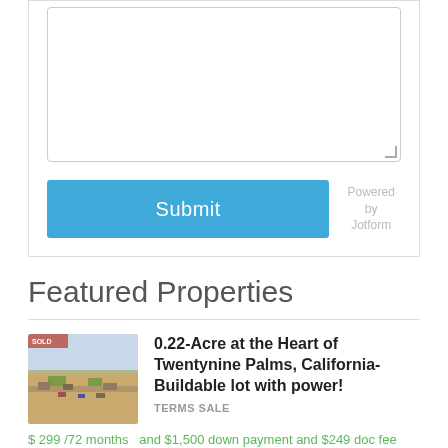[Figure (screenshot): Text area input field (empty, with resize handle) from a web form]
Submit
Powered by Jotform
Featured Properties
[Figure (photo): Aerial/ground photo of a land lot in Twentynine Palms, California]
0.22-Acre at the Heart of Twentynine Palms, California- Buildable lot with power!
TERMS SALE
$ 299 /72 months  and $1,500 down payment and $249 doc fee